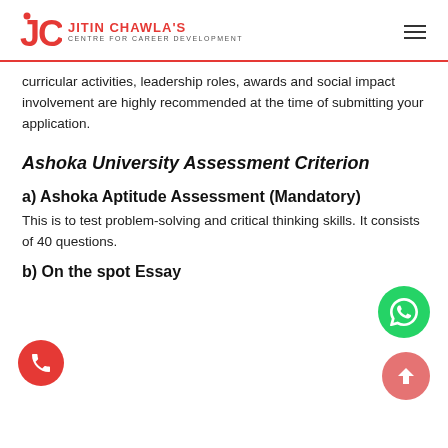JITIN CHAWLA'S CENTRE FOR CAREER DEVELOPMENT
curricular activities, leadership roles, awards and social impact involvement are highly recommended at the time of submitting your application.
Ashoka University Assessment Criterion
a) Ashoka Aptitude Assessment (Mandatory)
This is to test problem-solving and critical thinking skills. It consists of 40 questions.
b) On the spot Essay